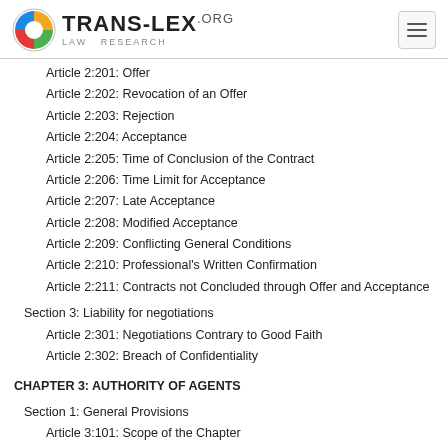TRANS-LEX.ORG LAW RESEARCH
Article 2:201: Offer
Article 2:202: Revocation of an Offer
Article 2:203: Rejection
Article 2:204: Acceptance
Article 2:205: Time of Conclusion of the Contract
Article 2:206: Time Limit for Acceptance
Article 2:207: Late Acceptance
Article 2:208: Modified Acceptance
Article 2:209: Conflicting General Conditions
Article 2:210: Professional's Written Confirmation
Article 2:211: Contracts not Concluded through Offer and Acceptance
Section 3: Liability for negotiations
Article 2:301: Negotiations Contrary to Good Faith
Article 2:302: Breach of Confidentiality
CHAPTER 3: AUTHORITY OF AGENTS
Section 1: General Provisions
Article 3:101: Scope of the Chapter
Article 3:102: Categories of Representation